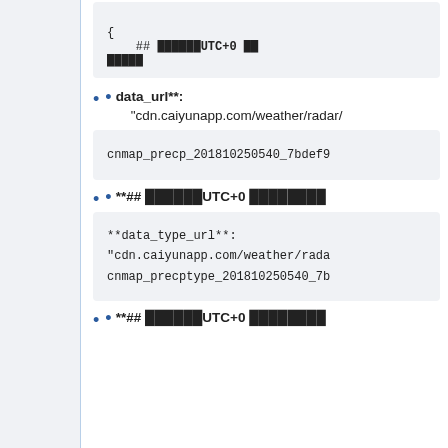• endata :[
{
    ## ██████UTC+0 ██
█████
• data_url**: "cdn.caiyunapp.com/weather/radar/
cnmap_precp_201810250540_7bdef9
• **## ██████UTC+0 ████████
**data_type_url**: "cdn.caiyunapp.com/weather/rada
cnmap_precptype_201810250540_7b
• **## ██████UTC+0 ████████